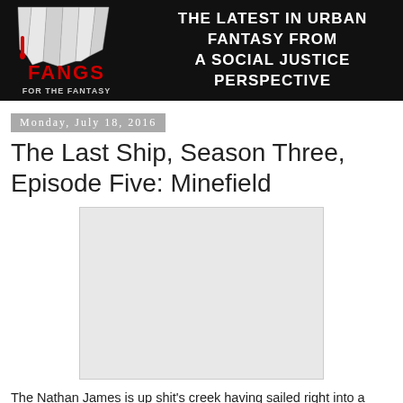[Figure (logo): Fangs for the Fantasy blog header banner. Left side shows fangs logo with red 'FANGS' text and 'FOR THE FANTASY' below on black background. Right side shows white uppercase text: 'THE LATEST IN URBAN FANTASY FROM A SOCIAL JUSTICE PERSPECTIVE']
Monday, July 18, 2016
The Last Ship, Season Three, Episode Five: Minefield
[Figure (photo): A blank/white image placeholder, light gray background]
The Nathan James is up shit's creek having sailed right into a minefield that Takehaya set as a trap. Stateside, Michener